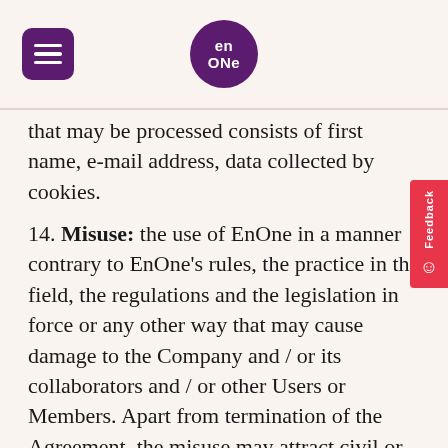EnOne
that may be processed consists of first name, e-mail address, data collected by cookies.
14. Misuse: the use of EnOne in a manner contrary to EnOne's rules, the practice in the field, the regulations and the legislation in force or any other way that may cause damage to the Company and / or its collaborators and / or other Users or Members. Apart from termination of the Agreement, the misuse may attract civil or criminal liability of the person / persons responsible. Misuse includes the publication of obscene, defamatory, threatening or malicious feedback / messages to the Company and / or